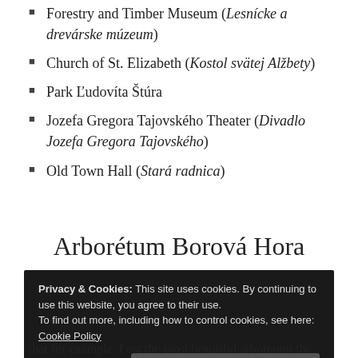Forestry and Timber Museum (Lesnícke a drevárske múzeum)
Church of St. Elizabeth (Kostol svätej Alžbety)
Park Ľudovíta Štúra
Jozefa Gregora Tajovského Theater (Divadlo Jozefa Gregora Tajovského)
Old Town Hall (Stará radnica)
Arborétum Borová Hora
Privacy & Cookies: This site uses cookies. By continuing to use this website, you agree to their use.
To find out more, including how to control cookies, see here: Cookie Policy
Close and accept
that for example. I ost the most beautiful arboretum the